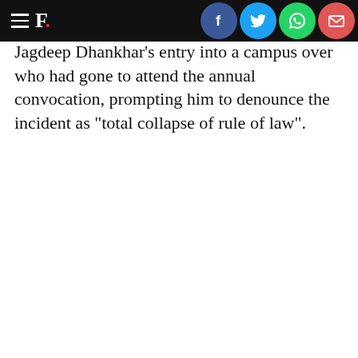F. [newspaper logo with social share icons: Facebook, Twitter, WhatsApp, Mail]
Jagdeep Dhankhar's entry into a campus over who had gone to attend the annual convocation, prompting him to denounce the incident as "total collapse of rule of law".